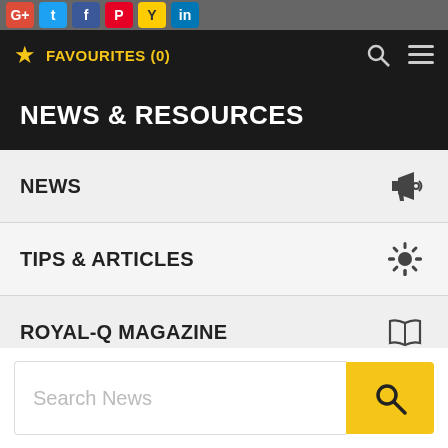[Figure (screenshot): Social media icon bar with Google+, Twitter, Facebook, Pinterest, and other icons]
★ FAVOURITES (0)
NEWS & RESOURCES
NEWS
TIPS & ARTICLES
ROYAL-Q MAGAZINE
PHOTO GALLERY
VIDEO GALLERY
Search News